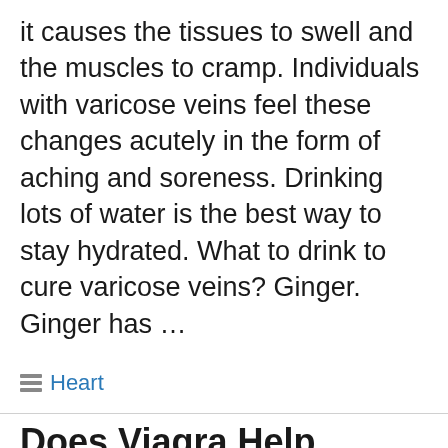it causes the tissues to swell and the muscles to cramp. Individuals with varicose veins feel these changes acutely in the form of aching and soreness. Drinking lots of water is the best way to stay hydrated. What to drink to cure varicose veins? Ginger. Ginger has …
Read more
Heart
Does Viagra Help venous leak?